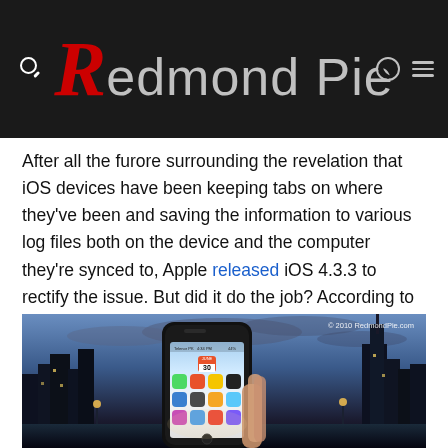Redmond Pie
After all the furore surrounding the revelation that iOS devices have been keeping tabs on where they've been and saving the information to various log files both on the device and the computer they're synced to, Apple released iOS 4.3.3 to rectify the issue. But did it do the job? According to PCMag, it did indeed.
[Figure (photo): Hand holding an iPhone 4 with iOS home screen visible, showing app icons including Messages, Calendar, and others. City skyline backdrop with dramatic cloudy sky. Watermark: © 2010 RedmondPie.com]